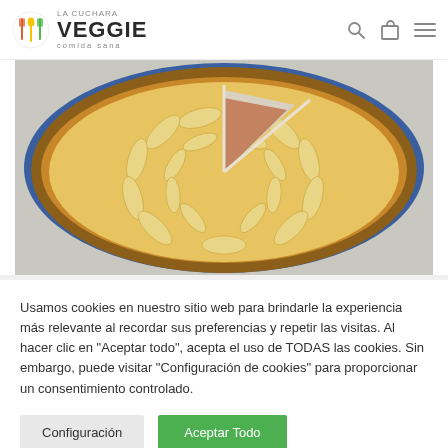[Figure (logo): La Cuchara Veggie logo with colorful spoon/fork icon and text 'LA CUCHARA VEGGIE comida sana']
[Figure (photo): Apple tart or pie sliced into portions, viewed from above, with golden apple slices arranged in a circular pattern on a blue plate, partially sliced]
Usamos cookies en nuestro sitio web para brindarle la experiencia más relevante al recordar sus preferencias y repetir las visitas. Al hacer clic en "Aceptar todo", acepta el uso de TODAS las cookies. Sin embargo, puede visitar "Configuración de cookies" para proporcionar un consentimiento controlado.
Configuración
Aceptar Todo